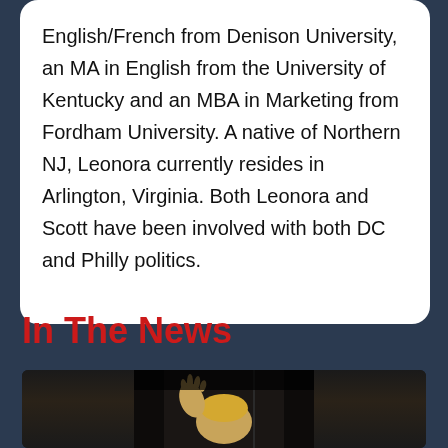English/French from Denison University, an MA in English from the University of Kentucky and an MBA in Marketing from Fordham University. A native of Northern NJ, Leonora currently resides in Arlington, Virginia. Both Leonora and Scott have been involved with both DC and Philly politics.
In The News
[Figure (photo): A person (appears to be raising a hand) photographed at a dark venue, partially visible from the shoulders up.]